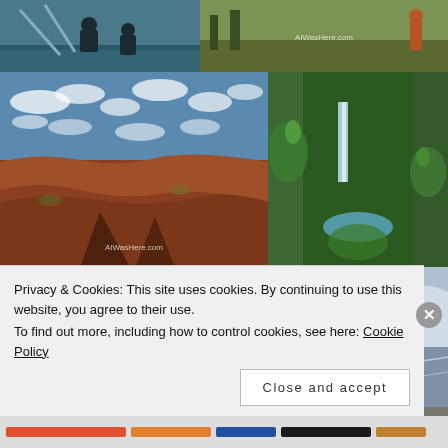[Figure (photo): Partial photo of people near water with boats/paddles, top-left]
[Figure (photo): Partial photo of people outdoors with watermark AIWasHere.com, top-right]
[Figure (photo): Landscape photo showing red rock terrain under dramatic cloudy blue sky with watermark AIWasHere.com]
[Figure (photo): Lush green canyon with waterfall and vegetation]
[Figure (photo): Blue wall with circular logo showing cowboy figure and M symbol]
[Figure (photo): Arctic or glacial beach with ice and grey water]
Privacy & Cookies: This site uses cookies. By continuing to use this website, you agree to their use.
To find out more, including how to control cookies, see here: Cookie Policy
Close and accept